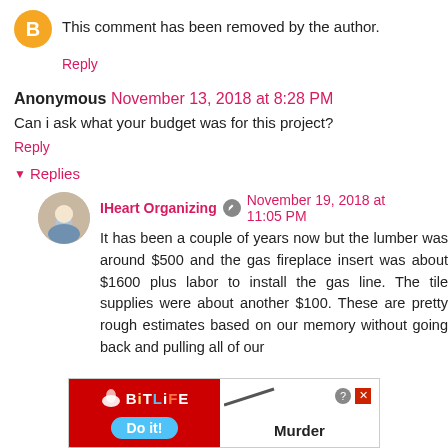This comment has been removed by the author.
Reply
Anonymous November 13, 2018 at 8:28 PM
Can i ask what your budget was for this project?
Reply
Replies
IHeart Organizing November 19, 2018 at 11:05 PM
It has been a couple of years now but the lumber was around $500 and the gas fireplace insert was about $1600 plus labor to install the gas line. The tile supplies were about another $100. These are pretty rough estimates based on our memory without going back and pulling all of our
[Figure (infographic): BitLife mobile game advertisement banner with red and blue sections, 'Murder Do it!' text]